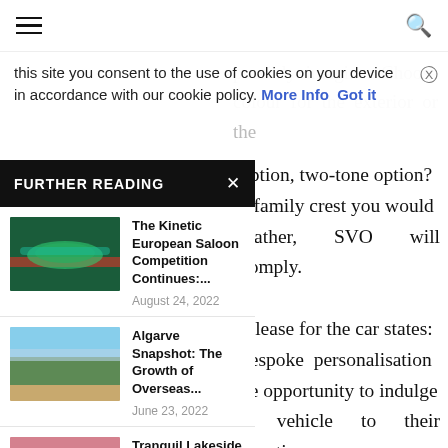Navigation bar with hamburger menu and search icon
this site you consent to the use of cookies on your device in accordance with our cookie policy. More Info Got it
possibly imagine. Choose colour for the exterior or the
FURTHER READING
option, two-tone option? a family crest you would leather, SVO will comply.
The Kinetic European Saloon Competition Continues:... August 24, 2022
Algarve Snapshot: The Growth of Overseas... June 23, 2022
Tranquil Lakeside Retreats That Embody the... June 10, 2022
release for the car states: bespoke personalisation he opportunity to indulge e vehicle to their exacting more paint colours, plus , with a range of finishes; er colours with a bespoke ng; headrest embroidery;